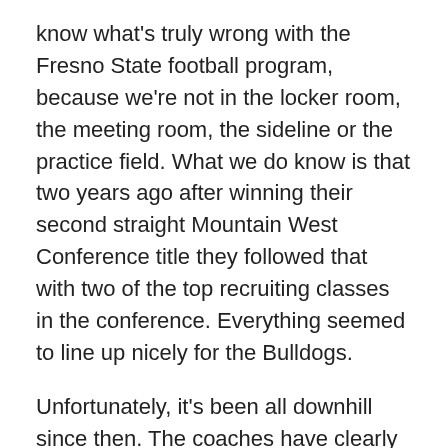know what's truly wrong with the Fresno State football program, because we're not in the locker room, the meeting room, the sideline or the practice field. What we do know is that two years ago after winning their second straight Mountain West Conference title they followed that with two of the top recruiting classes in the conference. Everything seemed to line up nicely for the Bulldogs.
Unfortunately, it's been all downhill since then. The coaches have clearly lost this team, not only because of the loses and the fact that Fresno State football has had as many arrests as they've had wins this season, but also because of the alarming amount of players who have either left, quit or been kicked off the team in the past two years.